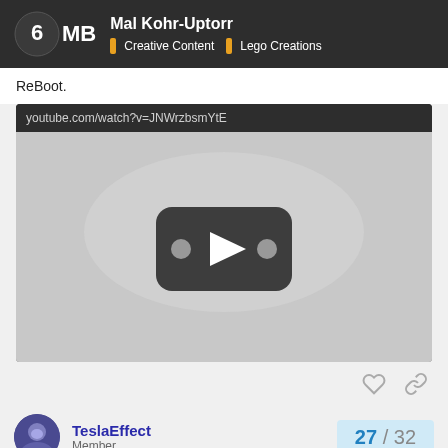Mal Kohr-Uptorr | Creative Content | Lego Creations
ReBoot.
[Figure (screenshot): YouTube video embed showing URL youtube.com/watch?v=JNWrzbsmYtE and a video thumbnail with a play button in the center on a light grey background.]
TeslaEffect
Member
27 / 32